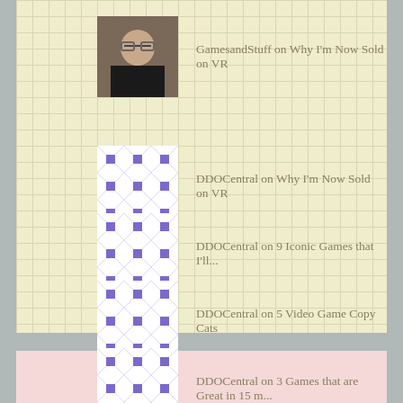GamesandStuff on Why I'm Now Sold on VR
DDOCentral on Why I'm Now Sold on VR
DDOCentral on 9 Iconic Games that I'll...
DDOCentral on 5 Video Game Copy Cats
DDOCentral on 3 Games that are Great in 15 m...